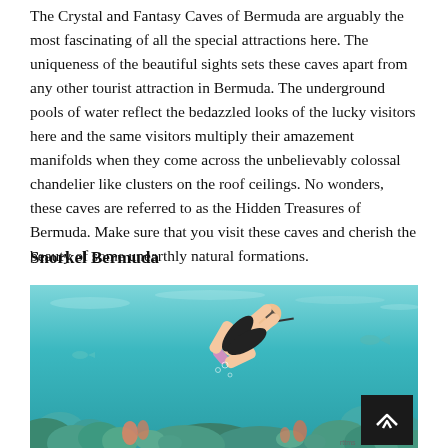The Crystal and Fantasy Caves of Bermuda are arguably the most fascinating of all the special attractions here. The uniqueness of the beautiful sights sets these caves apart from any other tourist attraction in Bermuda. The underground pools of water reflect the bedazzled looks of the lucky visitors here and the same visitors multiply their amazement manifolds when they come across the unbelievably colossal chandelier like clusters on the roof ceilings. No wonders, these caves are referred to as the Hidden Treasures of Bermuda. Make sure that you visit these caves and cherish the beauty of some unearthly natural formations.
Snorkel Bermuda
[Figure (photo): Underwater photo of a person snorkeling over a coral reef in turquoise water. The snorkeler is wearing black fins and a pink bikini, diving downward over colorful corals and rock formations. The water is a vivid teal/turquoise color. A dark back-to-top button with an upward arrow chevron is visible in the lower right corner of the image.]